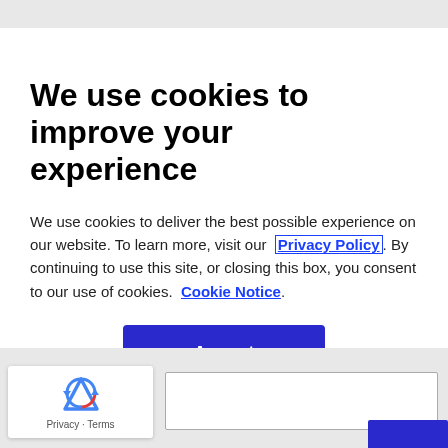We use cookies to improve your experience
We use cookies to deliver the best possible experience on our website. To learn more, visit our Privacy Policy. By continuing to use this site, or closing this box, you consent to our use of cookies. Cookie Notice.
[Figure (other): Blue Accept button]
[Figure (other): reCAPTCHA logo widget with Privacy and Terms text]